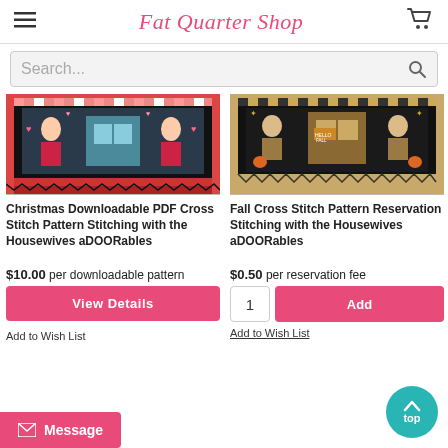Fat Quarter Shop
Search...
[Figure (photo): Christmas cross stitch pattern image showing Santa and Mrs. Claus with colorful border]
[Figure (photo): Fall cross stitch pattern image showing autumn figures with black checkered border]
Christmas Downloadable PDF Cross Stitch Pattern Stitching with the Housewives aDOORables
Fall Cross Stitch Pattern Reservation Stitching with the Housewives aDOORables
$10.00 per downloadable pattern
$0.50 per reservation fee
View Details
1  Add
Add to Wish List
Add to Wish List
Message
top